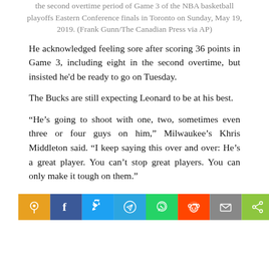the second overtime period of Game 3 of the NBA basketball playoffs Eastern Conference finals in Toronto on Sunday, May 19, 2019. (Frank Gunn/The Canadian Press via AP)
He acknowledged feeling sore after scoring 36 points in Game 3, including eight in the second overtime, but insisted he'd be ready to go on Tuesday.
The Bucks are still expecting Leonard to be at his best.
“He’s going to shoot with one, two, sometimes even three or four guys on him,” Milwaukee’s Khris Middleton said. “I keep saying this over and over: He’s a great player. You can’t stop great players. You can only make it tough on them.”
[Figure (infographic): Social media sharing buttons: orange pin/save, Facebook, Twitter, Telegram, WhatsApp, Reddit, Email, Share]